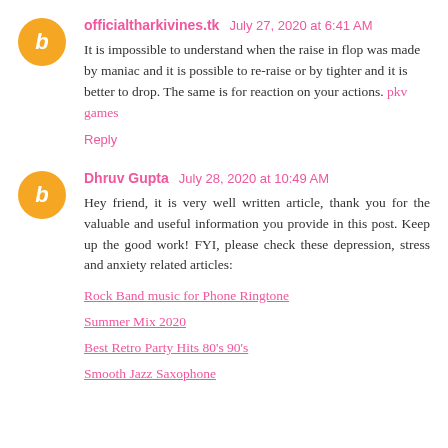officialtharkivines.tk July 27, 2020 at 6:41 AM
It is impossible to understand when the raise in flop was made by maniac and it is possible to re-raise or by tighter and it is better to drop. The same is for reaction on your actions. pkv games
Reply
Dhruv Gupta July 28, 2020 at 10:49 AM
Hey friend, it is very well written article, thank you for the valuable and useful information you provide in this post. Keep up the good work! FYI, please check these depression, stress and anxiety related articles:
Rock Band music for Phone Ringtone
Summer Mix 2020
Best Retro Party Hits 80's 90's
Smooth Jazz Saxophone